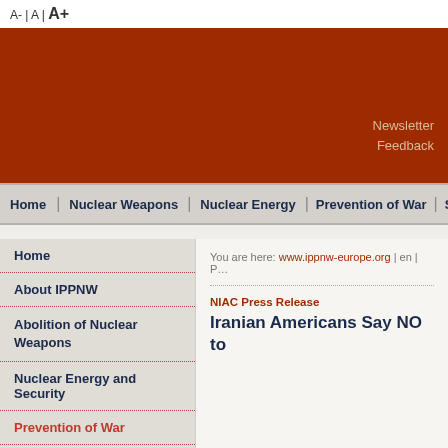A- | A | A+
[Figure (screenshot): Dark red website header banner with Newsletter and Feedback links]
Home | Nuclear Weapons | Nuclear Energy | Prevention of War | Social
Home
About IPPNW
Abolition of Nuclear Weapons
Nuclear Energy and Security
Prevention of War
Medical Appeal: No War in Europe!
Medical Peace Work
You are here: www.ippnw-europe.org | en | P…
NIAC Press Release
Iranian Americans Say NO to